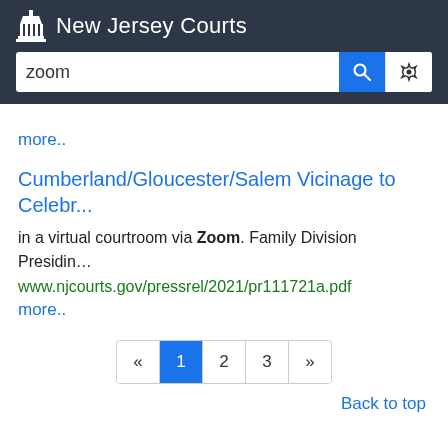New Jersey Courts
zoom (search query)
more..
Cumberland/Gloucester/Salem Vicinage to Celebr...
in a virtual courtroom via Zoom. Family Division Presidin...
www.njcourts.gov/pressrel/2021/pr111721a.pdf
more..
Pagination: « 1 2 3 »
Back to top